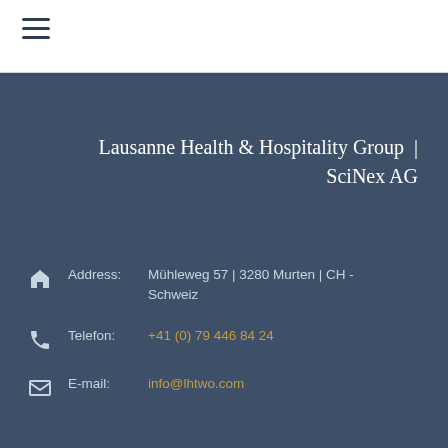≡ (hamburger menu icon)
Lausanne Health & Hospitality Group  |  SciNex AG
Address: Mühleweg 57 | 3280 Murten | CH - Schweiz
Telefon: +41 (0) 79 446 84 24
E-mail: info@lhtwo.com